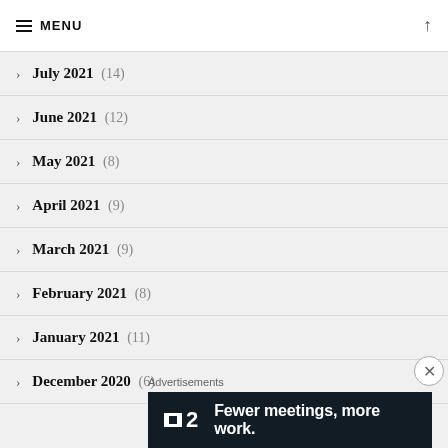MENU
July 2021 (14)
June 2021 (12)
May 2021 (8)
April 2021 (9)
March 2021 (9)
February 2021 (8)
January 2021 (11)
December 2020 (6)
Advertisements
[Figure (illustration): Advertisement banner for a project management tool with text: Fewer meetings, more work.]